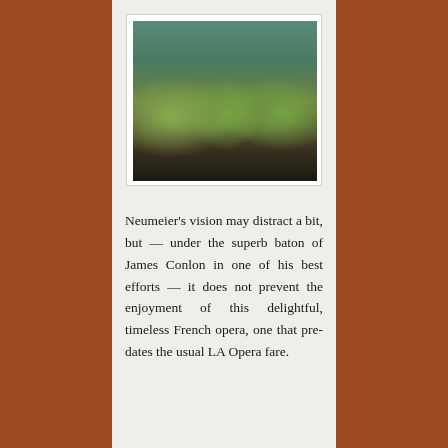[Figure (photo): Ballet dancers in green costumes performing on stage with dramatic scenic backdrop]
Neumeier’s vision may distract a bit, but — under the superb baton of James Conlon in one of his best efforts — it does not prevent the enjoyment of this delightful, timeless French opera, one that pre-dates the usual LA Opera fare.